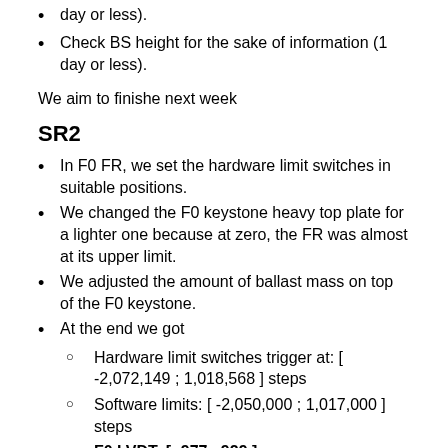day or less).
Check BS height for the sake of information (1 day or less).
We aim to finishe next week
SR2
In F0 FR, we set the hardware limit switches in suitable positions.
We changed the F0 keystone heavy top plate for a lighter one because at zero, the FR was almost at its upper limit.
We adjusted the amount of ballast mass on top of the F0 keystone.
At the end we got
Hardware limit switches trigger at: [ -2,072,149 ; 1,018,568 ] steps
Software limits: [ -2,050,000 ; 1,017,000 ] steps
F0 LVDT: [ -977 , 929 ] μm.
Buoyancy effect is 182 um.
We set the GAS filters in zero and measured the height of the mirror. It is approximately 0.95 mm